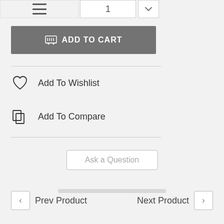[Figure (screenshot): Hamburger menu icon in top-left corner]
[Figure (screenshot): Quantity selector with number 1 and chevron dropdown]
[Figure (screenshot): Add To Cart button with shopping cart icon]
Add To Wishlist
Add To Compare
Ask a Question
Prev Product
Next Product